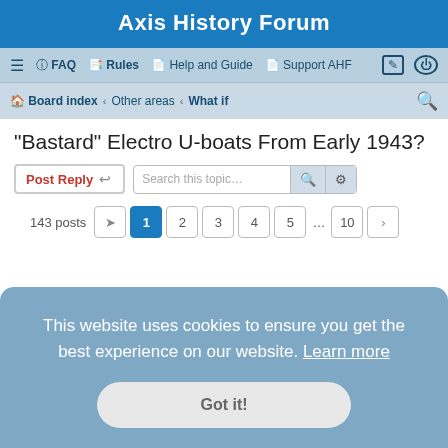Axis History Forum
≡  FAQ  Rules  Help and Guide  Support AHF
Board index › Other areas › What if
"Bastard" Electro U-boats From Early 1943?
Post Reply  Search this topic...
143 posts  1  2  3  4  5  ...  10  ›
This website uses cookies to ensure you get the best experience on our website. Learn more
Got it!